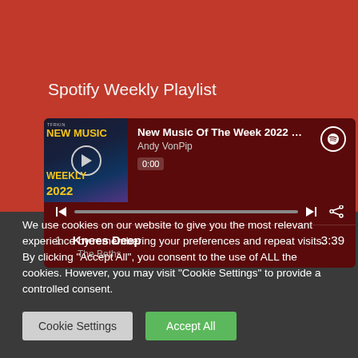Spotify Weekly Playlist
[Figure (screenshot): Spotify embedded music player showing 'New Music Of The Week 2022 - VPME...' playlist by Andy VonPip. Shows album art with NEW MUSIC WEEKLY 2022 text, play button, track progress bar at 0:00, skip controls, share icon, and first track: 1 Knees Deep - The Beths, duration 3:39]
We use cookies on our website to give you the most relevant experience by remembering your preferences and repeat visits. By clicking "Accept All", you consent to the use of ALL the cookies. However, you may visit "Cookie Settings" to provide a controlled consent.
Cookie Settings
Accept All